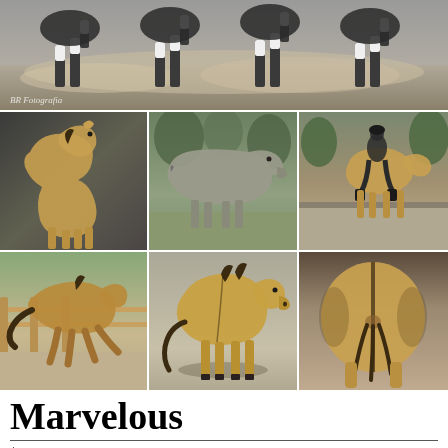[Figure (photo): Top banner photo of multiple horses running, showing their legs and hooves kicking up dust/dirt. Watermark 'BR Fotografia' visible in lower left.]
[Figure (photo): Close-up portrait photo of a golden/buckskin Lusitano horse against dark background, facing right.]
[Figure (photo): Side profile of a grey Lusitano horse standing in a field with trees in background.]
[Figure (photo): Rider on a buckskin horse doing dressage in an outdoor arena with stone wall background.]
[Figure (photo): Buckskin Lusitano horse trotting/cantering in a paddock with wooden fence behind.]
[Figure (photo): Full body side profile of a buckskin Lusitano horse standing still against a neutral background.]
[Figure (photo): Rear view/hindquarters of a buckskin horse, showing the dorsal stripe.]
Marvelous
$101 USD
Lusitano - Global Lusitanos Marvelous! EARTHQUAKE PROOF!